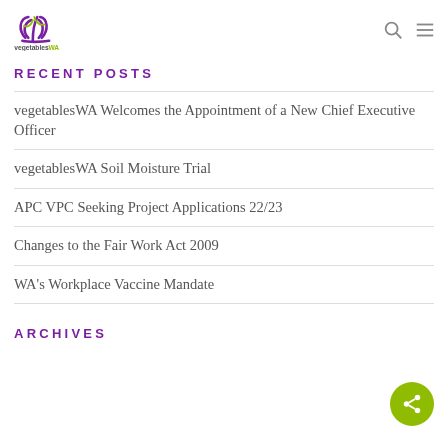[Figure (logo): vegetablesWA logo with stylized leaf/vine icon in purple and green]
RECENT POSTS
vegetablesWA Welcomes the Appointment of a New Chief Executive Officer
vegetablesWA Soil Moisture Trial
APC VPC Seeking Project Applications 22/23
Changes to the Fair Work Act 2009
WA's Workplace Vaccine Mandate
ARCHIVES